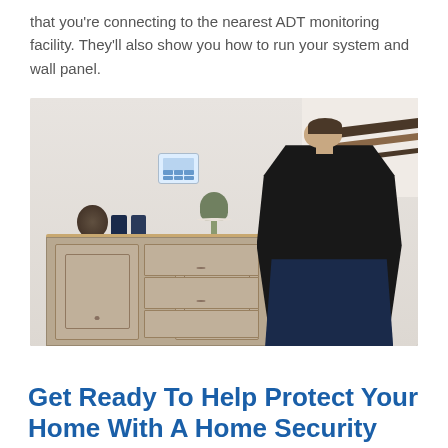that you're connecting to the nearest ADT monitoring facility. They'll also show you how to run your system and wall panel.
[Figure (photo): A woman in a black top leaning against a rustic white/gray sideboard cabinet, with an ADT security wall panel mounted on the wall behind her, and a small plant on top of the cabinet. A staircase is visible in the background.]
Get Ready To Help Protect Your Home With A Home Security